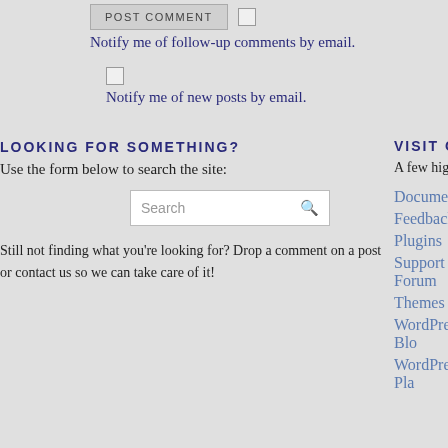[Figure (screenshot): POST COMMENT button with a checkbox next to it]
Notify me of follow-up comments by email.
[Figure (screenshot): Checkbox for new posts notification]
Notify me of new posts by email.
LOOKING FOR SOMETHING?
Use the form below to search the site:
[Figure (screenshot): Search input box with magnifier icon]
Still not finding what you're looking for? Drop a comment on a post or contact us so we can take care of it!
VISIT OUR FR
A few highly rec
Documentation
Feedback
Plugins
Support Forum
Themes
WordPress Blo
WordPress Pla